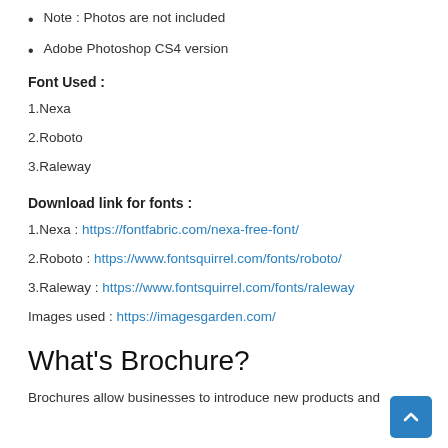Note : Photos are not included
Adobe Photoshop CS4 version
Font Used :
1.Nexa
2.Roboto
3.Raleway
Download link for fonts :
1.Nexa : https://fontfabric.com/nexa-free-font/
2.Roboto : https://www.fontsquirrel.com/fonts/roboto/
3.Raleway : https://www.fontsquirrel.com/fonts/raleway
Images used : https://imagesgarden.com/
What's Brochure?
Brochures allow businesses to introduce new products and